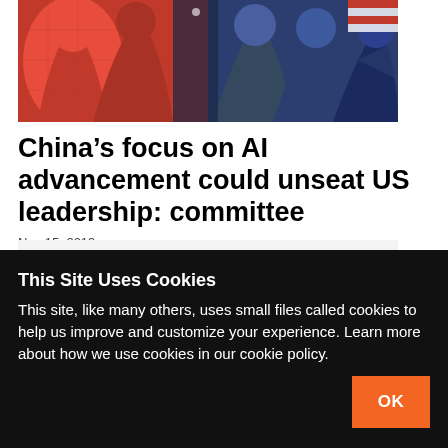[Figure (illustration): Stylized illustration showing silhouettes of human profiles in red, blue and dark tones with geometric patterns, representing US-China AI competition theme.]
China’s focus on AI advancement could unseat US leadership: committee
Nov 15, 2019
[Figure (other): Light gray placeholder rectangle representing article body content area.]
This Site Uses Cookies
This site, like many others, uses small files called cookies to help us improve and customize your experience. Learn more about how we use cookies in our cookie policy.